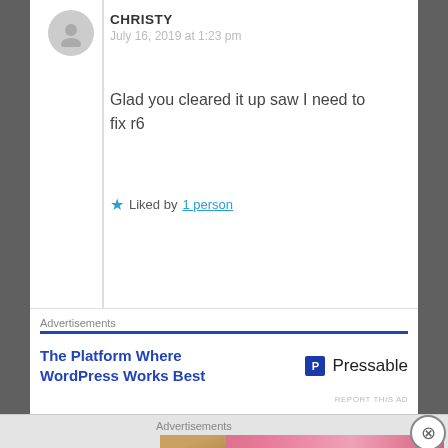CHRISTY
July 16, 2019 at 1:23 pm
Glad you cleared it up saw I need to fix r6
Liked by 1 person
Advertisements
[Figure (screenshot): Pressable ad: The Platform Where WordPress Works Best]
REPORT THIS AD
Advertisements
[Figure (screenshot): Victoria's Secret banner ad: SHOP THE COLLECTION, SHOP NOW]